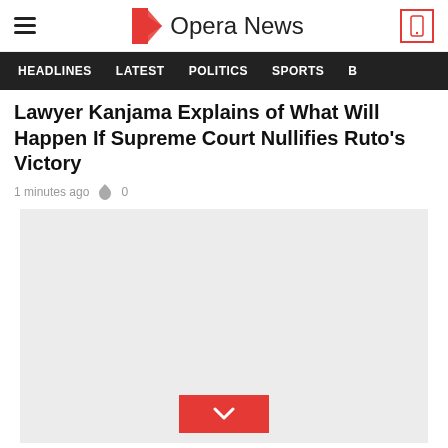Opera News
Lawyer Kanjama Explains of What Will Happen If Supreme Court Nullifies Ruto's Victory
1 minutes ago  0
[Figure (photo): Large image placeholder with a red chevron/down arrow button at the bottom center]